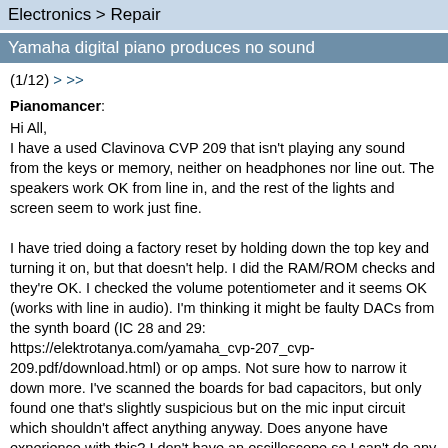Electronics > Repair
Yamaha digital piano produces no sound
(1/12) > >>
Pianomancer:
Hi All,
I have a used Clavinova CVP 209 that isn't playing any sound from the keys or memory, neither on headphones nor line out. The speakers work OK from line in, and the rest of the lights and screen seem to work just fine.

I have tried doing a factory reset by holding down the top key and turning it on, but that doesn't help. I did the RAM/ROM checks and they're OK. I checked the volume potentiometer and it seems OK (works with line in audio). I'm thinking it might be faulty DACs from the synth board (IC 28 and 29: https://elektrotanya.com/yamaha_cvp-207_cvp-209.pdf/download.html) or op amps. Not sure how to narrow it down more. I've scanned the boards for bad capacitors, but only found one that's slightly suspicious but on the mic input circuit which shouldn't affect anything anyway. Does anyone have experience with this? I don't have an oscilloscope so I can't do any